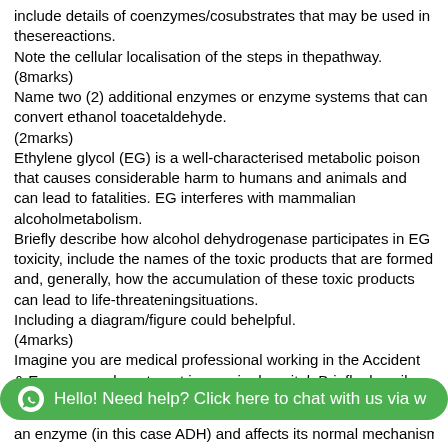include details of coenzymes/cosubstrates that may be used in these reactions.
Note the cellular localisation of the steps in the pathway.
(8marks)
Name two (2) additional enzymes or enzyme systems that can convert ethanol to acetaldehyde.
(2marks)
Ethylene glycol (EG) is a well-characterised metabolic poison that causes considerable harm to humans and animals and can lead to fatalities. EG interferes with mammalian alcohol metabolism.
Briefly describe how alcohol dehydrogenase participates in EG toxicity, include the names of the toxic products that are formed and, generally, how the accumulation of these toxic products can lead to life-threatening situations.
Including a diagram/figure could be helpful.
(4marks)
Imagine you are medical professional working in the Accident & Emergency department in a major hospital. Briefly describe the treatment options and how you would treat a patient that presents with EG poisoning?
[Figure (other): Green chat bar with WhatsApp icon: Hello! Need help? Click here to chat with us via w]
an enzyme (in this case ADH) and affects its normal mechanism